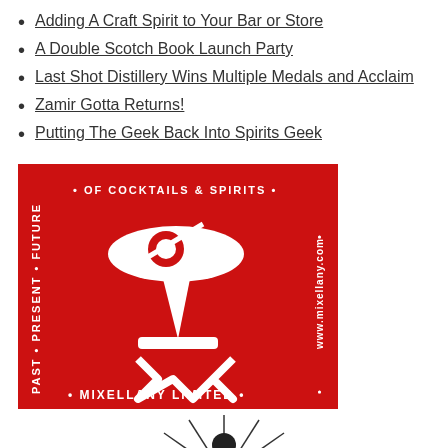Adding A Craft Spirit to Your Bar or Store
A Double Scotch Book Launch Party
Last Shot Distillery Wins Multiple Medals and Acclaim
Zamir Gotta Returns!
Putting The Geek Back Into Spirits Geek
[Figure (logo): Mixellany Limited logo: red square with white martini glass graphic, text reading PAST · PRESENT · FUTURE · OF COCKTAILS & SPIRITS · www.mixellany.com · MIXELLANY LIMITED]
[Figure (logo): Partially visible black and white logo at bottom of page showing a figure with radiating lines]